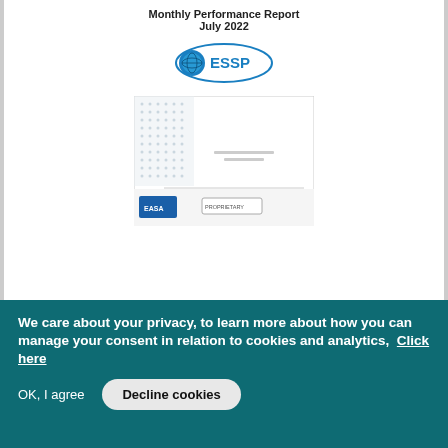Monthly Performance Report
July 2022
[Figure (logo): ESSP logo — blue oval with globe icon and text 'ESSP']
[Figure (screenshot): Thumbnail of a document page with dotted background pattern, EASA logo and 'PROPRIETARY' stamp]
135 - Monthly Performance Report - July 2022
Monthly performance report | Friday, August 5, 2022
We care about your privacy, to learn more about how you can manage your consent in relation to cookies and analytics,  Click here
OK, I agree
Decline cookies